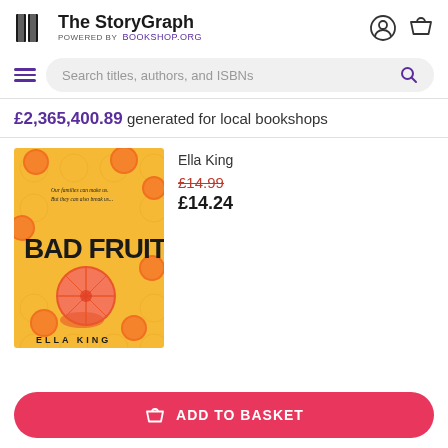The StoryGraph POWERED BY Bookshop.org
Search titles, authors, and ISBNs
£2,365,400.89 generated for local bookshops
[Figure (photo): Book cover of 'Bad Fruit' by Ella King — yellow background with oranges and a cut grapefruit, bold black text reading BAD FRUIT, author name ELLA KING at bottom]
Ella King
£14.99
£14.24
ADD TO BASKET